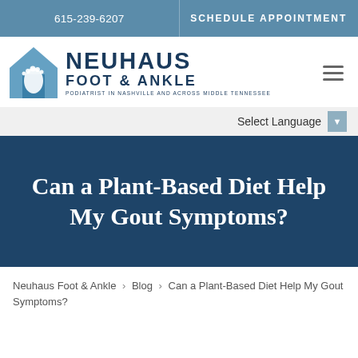615-239-6207 | SCHEDULE APPOINTMENT
[Figure (logo): Neuhaus Foot & Ankle logo with foot icon and text: NEUHAUS FOOT & ANKLE, PODIATRIST IN NASHVILLE AND ACROSS MIDDLE TENNESSEE]
Select Language
Can a Plant-Based Diet Help My Gout Symptoms?
Neuhaus Foot & Ankle > Blog > Can a Plant-Based Diet Help My Gout Symptoms?